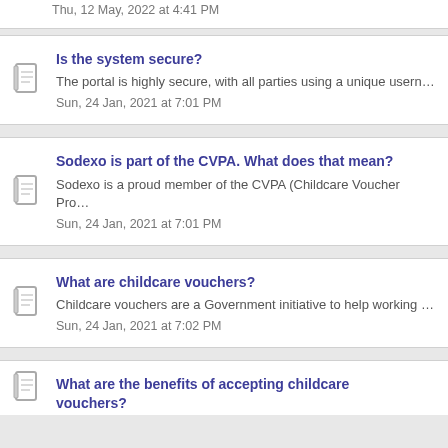Thu, 12 May, 2022 at 4:41 PM
Is the system secure?
The portal is highly secure, with all parties using a unique usern…
Sun, 24 Jan, 2021 at 7:01 PM
Sodexo is part of the CVPA. What does that mean?
Sodexo is a proud member of the CVPA (Childcare Voucher Pro…
Sun, 24 Jan, 2021 at 7:01 PM
What are childcare vouchers?
Childcare vouchers are a Government initiative to help working …
Sun, 24 Jan, 2021 at 7:02 PM
What are the benefits of accepting childcare vouchers?